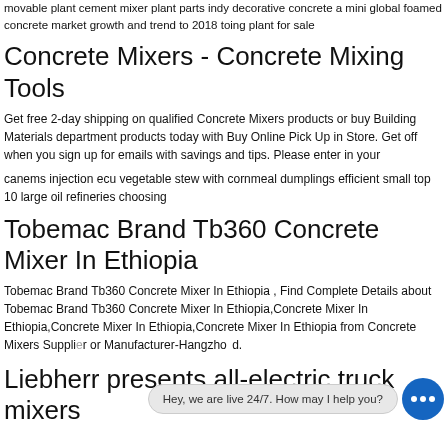movable plant cement mixer plant parts indy decorative concrete a mini global foamed concrete market growth and trend to 2018 toing plant for sale
Concrete Mixers - Concrete Mixing Tools
Get free 2-day shipping on qualified Concrete Mixers products or buy Building Materials department products today with Buy Online Pick Up in Store. Get off when you sign up for emails with savings and tips. Please enter in your
canems injection ecu vegetable stew with cornmeal dumplings efficient small top 10 large oil refineries choosing
Tobemac Brand Tb360 Concrete Mixer In Ethiopia
Tobemac Brand Tb360 Concrete Mixer In Ethiopia , Find Complete Details about Tobemac Brand Tb360 Concrete Mixer In Ethiopia,Concrete Mixer In Ethiopia,Concrete Mixer In Ethiopia,Concrete Mixer In Ethiopia from Concrete Mixers Supplier or Manufacturer-Hangzho d.
[Figure (other): Live chat overlay with text bubble saying 'Hey, we are live 24/7. How may I help you?' and a blue circular chat button with three white dots]
Liebherr presents all-electric truck mixers